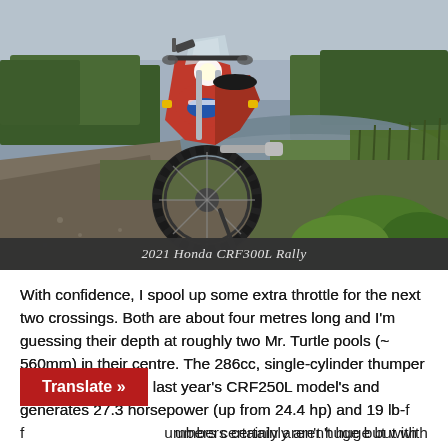[Figure (photo): A 2021 Honda CRF300L Rally dual-sport motorcycle parked on a gravel road beside a pond or marshland, with green trees in the background under a cloudy grey sky. The bike is red and white with a windscreen and knobby tires.]
2021 Honda CRF300L Rally
With confidence, I spool up some extra throttle for the next two crossings. Both are about four metres long and I'm guessing their depth at roughly two Mr. Turtle pools (~ 560mm) in their centre. The 286cc, single-cylinder thumper is 15% bigger than last year's CRF250L model's and generates 27.3 horsepower (up from 24.4 hp) and 19 lb-f... numbers certainly aren't huge but with only 152kg t... than ample. I probably twisted up more speed...